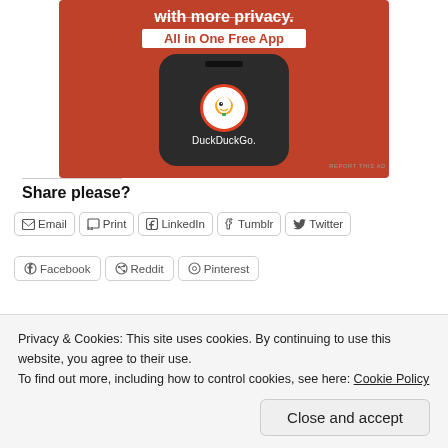[Figure (illustration): DuckDuckGo advertisement showing a smartphone with DuckDuckGo duck logo on an orange background, with text 'with more privacy. All in One Free App' at the top.]
REPORT THIS AD
Share please?
Email  Print  LinkedIn  Tumblr  Twitter
Facebook  Reddit  Pinterest
Privacy & Cookies: This site uses cookies. By continuing to use this website, you agree to their use.
To find out more, including how to control cookies, see here: Cookie Policy
Close and accept
[Figure (photo): Two partial thumbnail images at the bottom of the page — left appears to show people, right appears darker.]